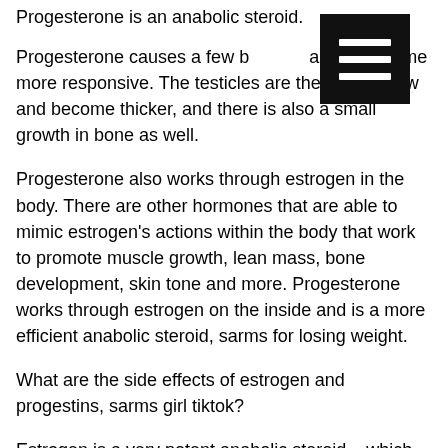Progesterone is an anabolic steroid.
[Figure (other): Hamburger menu icon — three white horizontal bars on a black square background]
Progesterone causes a few body organs to become more responsive. The testicles are the first to grow and become thicker, and there is also a small growth in bone as well.
Progesterone also works through estrogen in the body. There are other hormones that are able to mimic estrogen’s actions within the body that work to promote muscle growth, lean mass, bone development, skin tone and more. Progesterone works through estrogen on the inside and is a more efficient anabolic steroid, sarms for losing weight.
What are the side effects of estrogen and progestins, sarms girl tiktok?
Estrogen is a very potent anabolic steroid – which means it is extremely potent at helping you build muscle. The side effects of